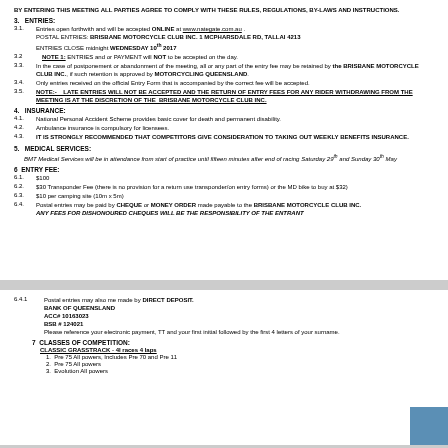BY ENTERING THIS MEETING ALL PARTIES AGREE TO COMPLY WITH THESE RULES, REGULATIONS, BY-LAWS AND INSTRUCTIONS.
3.  ENTRIES:
3.1. Entries open forthwith and will be accepted ONLINE at www.nategate.com.au . POSTAL ENTRIES: BRISBANE MOTORCYCLE CLUB INC. 1 MCPHARSDALE RD, TALLAI 4213 ENTRIES CLOSE midnight WEDNESDAY 10th 2017
3.2 NOTE 1: ENTRIES and or PAYMENT will NOT to be accepted on the day.
3.3. In the case of postponement or abandonment of the meeting, all or any part of the entry fee may be retained by the BRISBANE MOTORCYCLE CLUB INC., if such retention is approved by MOTORCYCLING QUEENSLAND.
3.4. Only entries received on the official Entry Form that is accompanied by the correct fee will be accepted.
3.5. NOTE:- LATE ENTRIES WILL NOT BE ACCEPTED AND THE RETURN OF ENTRY FEES FOR ANY RIDER WITHDRAWING FROM THE MEETING IS AT THE DISCRETION OF THE BRISBANE MOTORCYCLE CLUB INC.
4.  INSURANCE:
4.1. National Personal Accident Scheme provides basic cover for death and permanent disability.
4.2. Ambulance insurance is compulsory for licensees.
4.3. IT IS STRONGLY RECOMMENDED THAT COMPETITORS GIVE CONSIDERATION TO TAKING OUT WEEKLY BENEFITS INSURANCE.
5.  MEDICAL SERVICES:
BMT Medical Services will be in attendance from start of practice until fifteen minutes after end of racing Saturday 29th and Sunday 30th May
6  ENTRY FEE:
6.1. $100
6.2. $30 Transponder Fee (there is no provision for a return use transponder/on entry forms) or the MD bike to buy at $32)
6.3. $10 per camping site (10m x 5m)
6.4. Postal entries may be paid by CHEQUE or MONEY ORDER made payable to the BRISBANE MOTORCYCLE CLUB INC. ANY FEES FOR DISHONOURED CHEQUES WILL BE THE RESPONSIBILITY OF THE ENTRANT
6.4.1 Postal entries may also me made by DIRECT DEPOSIT. BANK OF QUEENSLAND ACC# 10163023 BSB # 124021 Please reference your electronic payment, TT and your first initial followed by the first 4 letters of your surname.
7  CLASSES OF COMPETITION:
CLASSIC GRASSTRACK - 4l races 4 laps
1. Pre 75 All powers, Includes Pre 70 and Pre 11
2. Pre 75 All powers
3. Evolution All powers